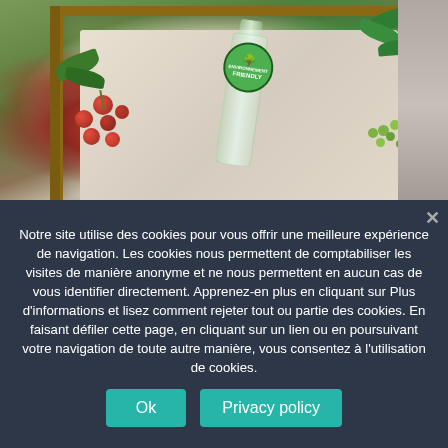[Figure (photo): Product photo showing a glass bottle with a green circular label featuring a tree logo and 'FRIENDLY' text, surrounded by red berries, green leaves, and placed on a linen cloth inside a wooden box. The background shows a rustic stone wall.]
Notre site utilise des cookies pour vous offrir une meilleure expérience de navigation. Les cookies nous permettent de comptabiliser les visites de manière anonyme et ne nous permettent en aucun cas de vous identifier directement. Apprenez-en plus en cliquant sur Plus d'informations et lisez comment rejeter tout ou partie des cookies. En faisant défiler cette page, en cliquant sur un lien ou en poursuivant votre navigation de toute autre manière, vous consentez à l'utilisation de cookies.
Ok
Privacy policy